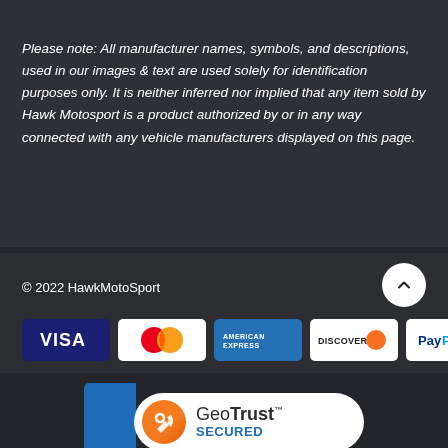Please note: All manufacturer names, symbols, and descriptions, used in our images & text are used solely for identification purposes only. It is neither inferred nor implied that any item sold by Hawk Motosport is a product authorized by or in any way connected with any vehicle manufacturers displayed on this page.
© 2022 HawkMotoSport
[Figure (logo): Payment method icons: VISA, Mastercard, American Express, Discover, PayPal]
[Figure (logo): GeoTrust SECURED badge with blue box and orange arrow icon, powered by digicert]